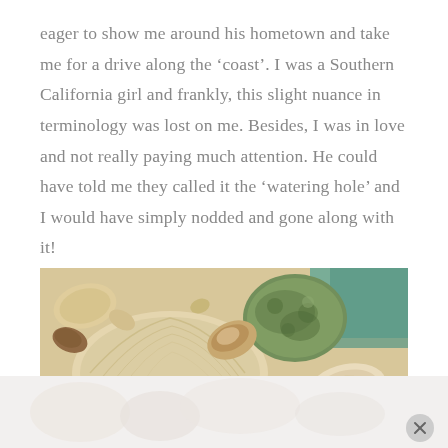eager to show me around his hometown and take me for a drive along the ‘coast’. I was a Southern California girl and frankly, this slight nuance in terminology was lost on me. Besides, I was in love and not really paying much attention. He could have told me they called it the ‘watering hole’ and I would have simply nodded and gone along with it!
[Figure (photo): Close-up photograph of various seashells and a green-patinated rock on sandy beach surface]
[Figure (photo): Advertisement or decorative image with blurred light-colored objects on a pale background, with an X close button]